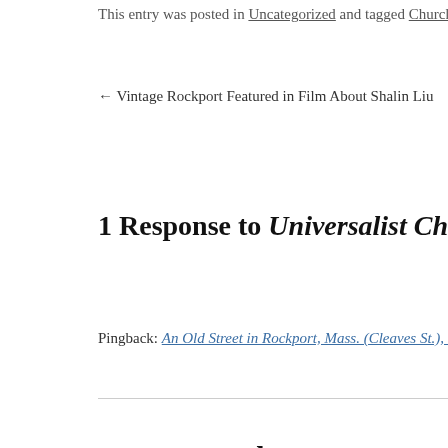This entry was posted in Uncategorized and tagged Churches. Bookmark the
← Vintage Rockport Featured in Film About Shalin Liu     Help Me M
1 Response to Universalist Church, Rockpo
Pingback: An Old Street in Rockport, Mass. (Cleaves St.), circa 1920 | Vintage
Leave a Reply
Your email address will not be published. Required fields are m
Comment *